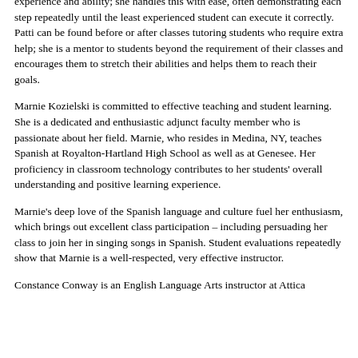experience and ability; she handles this with ease, often demonstrating each step repeatedly until the least experienced student can execute it correctly. Patti can be found before or after classes tutoring students who require extra help; she is a mentor to students beyond the requirement of their classes and encourages them to stretch their abilities and helps them to reach their goals.
Marnie Kozielski is committed to effective teaching and student learning. She is a dedicated and enthusiastic adjunct faculty member who is passionate about her field. Marnie, who resides in Medina, NY, teaches Spanish at Royalton-Hartland High School as well as at Genesee. Her proficiency in classroom technology contributes to her students' overall understanding and positive learning experience.
Marnie's deep love of the Spanish language and culture fuel her enthusiasm, which brings out excellent class participation – including persuading her class to join her in singing songs in Spanish. Student evaluations repeatedly show that Marnie is a well-respected, very effective instructor.
Constance Conway is an English Language Arts instructor at Attica